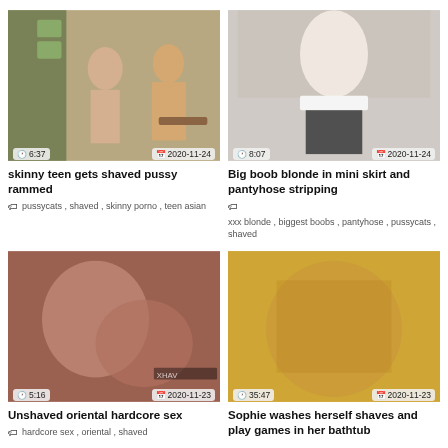[Figure (photo): Video thumbnail showing two people in a classroom setting]
skinny teen gets shaved pussy rammed
pussycats , shaved , skinny porno , teen asian
[Figure (photo): Video thumbnail showing a blonde woman in mini skirt]
Big boob blonde in mini skirt and pantyhose stripping
xxx blonde , biggest boobs , pantyhose , pussycats , shaved
[Figure (photo): Video thumbnail showing oriental hardcore sex scene]
Unshaved oriental hardcore sex
hardcore sex , oriental , shaved
[Figure (photo): Video thumbnail showing woman in bathtub]
Sophie washes herself shaves and play games in her bathtub